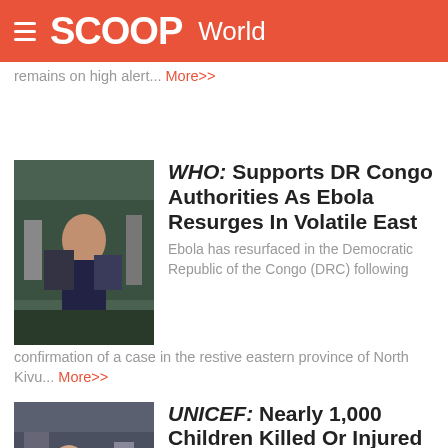SCOOP World
remains on high alert... More>>
WHO: Supports DR Congo Authorities As Ebola Resurges In Volatile East
[Figure (photo): Photo of a medical worker in a treatment facility]
Ebola has resurfaced in the Democratic Republic of the Congo (DRC) following confirmation of a case in the restive eastern province of North Kivu... More>>
UNICEF: Nearly 1,000 Children Killed Or Injured In Ukraine But Real Number Likely Higher
[Figure (photo): Photo related to Ukraine conflict]
Nearly 1,000 boys and girls have been killed or injured in the war in Ukraine, the head of the UN Children's Fund (UNICEF) reported